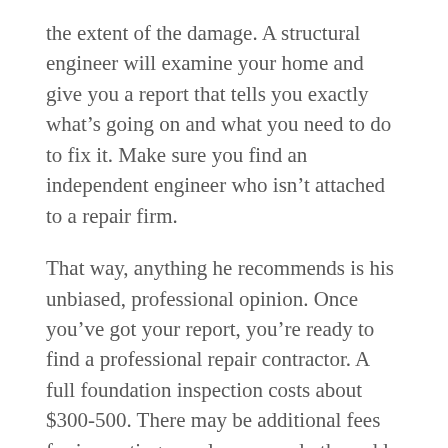the extent of the damage. A structural engineer will examine your home and give you a report that tells you exactly what's going on and what you need to do to fix it. Make sure you find an independent engineer who isn't attached to a repair firm.
That way, anything he recommends is his unbiased, professional opinion. Once you've got your report, you're ready to find a professional repair contractor. A full foundation inspection costs about $300-500. There may be additional fees for inspecting crawlspaces and other add-ons.
Step 2: Find a Plan of Attack